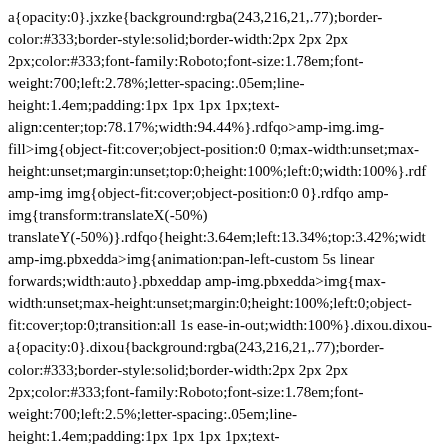a{opacity:0}.jxzke{background:rgba(243,216,21,.77);border-color:#333;border-style:solid;border-width:2px 2px 2px 2px;color:#333;font-family:Roboto;font-size:1.78em;font-weight:700;left:2.78%;letter-spacing:.05em;line-height:1.4em;padding:1px 1px 1px 1px;text-align:center;top:78.17%;width:94.44%}.rdfqo>amp-img.img-fill>img{object-fit:cover;object-position:0 0;max-width:unset;max-height:unset;margin:unset;top:0;height:100%;left:0;width:100%}.rdf amp-img img{object-fit:cover;object-position:0 0}.rdfqo amp-img{transform:translateX(-50%) translateY(-50%)}.rdfqo{height:3.64em;left:13.34%;top:3.42%;widt amp-img.pbxedda>img{animation:pan-left-custom 5s linear forwards;width:auto}.pbxeddap amp-img.pbxedda>img{max-width:unset;max-height:unset;margin:0;height:100%;left:0;object-fit:cover;top:0;transition:all 1s ease-in-out;width:100%}.dixou.dixou-a{opacity:0}.dixou{background:rgba(243,216,21,.77);border-color:#333;border-style:solid;border-width:2px 2px 2px 2px;color:#333;font-family:Roboto;font-size:1.78em;font-weight:700;left:2.5%;letter-spacing:.05em;line-height:1.4em;padding:1px 1px 1px 1px;text-align:center;top:84.5%;width:94.44%}.bzsmk>amp-img.img-fill>img{object-fit:cover;object-position:0 0;max-width:unset;max-